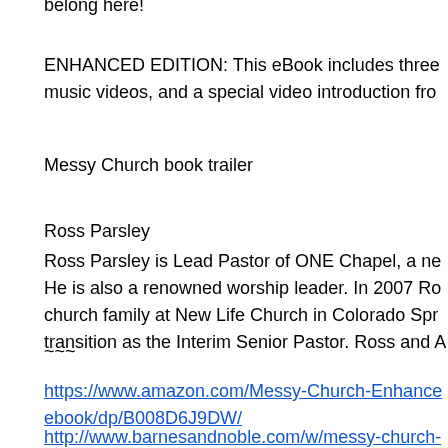belong here!
ENHANCED EDITION: This eBook includes three music videos, and a special video introduction fro
Messy Church book trailer
Ross Parsley
Ross Parsley is Lead Pastor of ONE Chapel, a ne He is also a renowned worship leader. In 2007 Ro church family at New Life Church in Colorado Spr transition as the Interim Senior Pastor. Ross and A
~~~
https://www.amazon.com/Messy-Church-Enhance ebook/dp/B008D6J9DW/
http://www.barnesandnoble.com/w/messy-church-